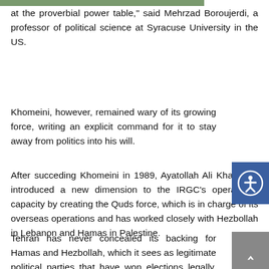at the proverbial power table," said Mehrzad Boroujerdi, a professor of political science at Syracuse University in the US.
Khomeini, however, remained wary of its growing force, writing an explicit command for it to stay away from politics into his will.
After succeding Khomeini in 1989, Ayatollah Ali Khamenei introduced a new dimension to the IRGC’s operational capacity by creating the Quds force, which is in charge of its overseas operations and has worked closely with Hezbollah in Lebanon and Hamas in Palestine.
Tehran has never concealed its backing for Hamas and Hezbollah, which it sees as legitimate political parties that have won elections legally, said Ali Alizadeh, a London...